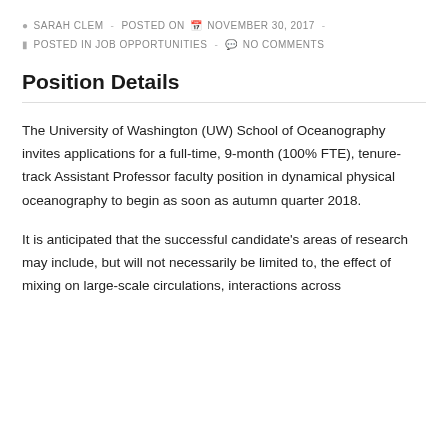SARAH CLEM  -  POSTED ON  NOVEMBER 30, 2017  -  POSTED IN JOB OPPORTUNITIES  -  NO COMMENTS
Position Details
The University of Washington (UW) School of Oceanography invites applications for a full-time, 9-month (100% FTE), tenure-track Assistant Professor faculty position in dynamical physical oceanography to begin as soon as autumn quarter 2018.
It is anticipated that the successful candidate's areas of research may include, but will not necessarily be limited to, the effect of mixing on large-scale circulations, interactions across...